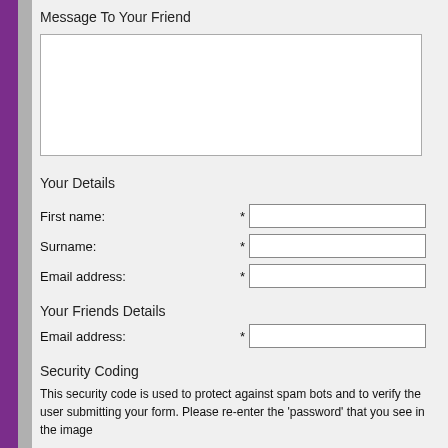Message To Your Friend
[text area input box]
Your Details
First name: *
Surname: *
Email address: *
Your Friends Details
Email address: *
Security Coding
This security code is used to protect against spam bots and to verify the user submitting your form. Please re-enter the 'password' that you see in the image
[Figure (other): CAPTCHA image with distorted text]